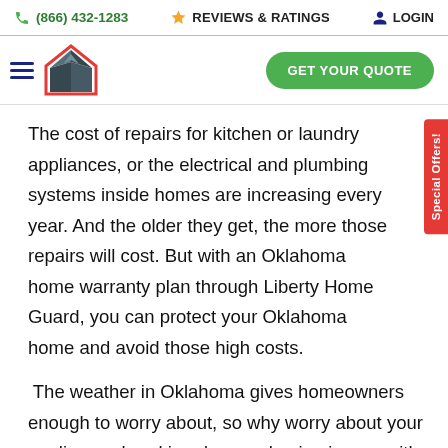(866) 432-1283   REVIEWS & RATINGS   LOGIN
[Figure (logo): Liberty Home Guard logo — house icon with teal/dark blue geometric roof and red border, with hamburger menu icon to the left]
The cost of repairs for kitchen or laundry appliances, or the electrical and plumbing systems inside homes are increasing every year. And the older they get, the more those repairs will cost. But with an Oklahoma home warranty plan through Liberty Home Guard, you can protect your Oklahoma home and avoid those high costs.
The weather in Oklahoma gives homeowners enough to worry about, so why worry about your appliances breaking down or having issues with the electrical and plumbing systems in your